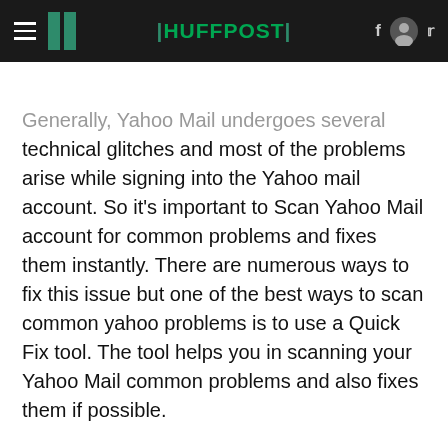HuffPost
Generally, Yahoo Mail undergoes several technical glitches and most of the problems arise while signing into the Yahoo mail account. So it's important to Scan Yahoo Mail account for common problems and fixes them instantly. There are numerous ways to fix this issue but one of the best ways to scan common yahoo problems is to use a Quick Fix tool. The tool helps you in scanning your Yahoo Mail common problems and also fixes them if possible.
Below listed are the problems scanned by the Quick Fix tool Yahoo Mail account...